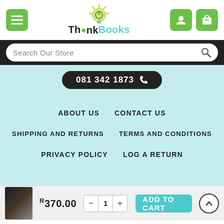[Figure (logo): ThinkBooks logo with lightbulb graphic, green menu button on left, green user and cart icon buttons on right]
[Figure (screenshot): Search bar with text 'Search Our Store' and magnifying glass icon on dark background]
081 342 1873
ABOUT US
CONTACT US
SHIPPING AND RETURNS
TERMS AND CONDITIONS
PRIVACY POLICY
LOG A RETURN
R370.00
ADD TO CART